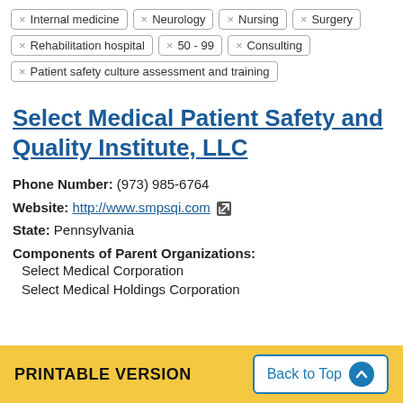× Internal medicine
× Neurology
× Nursing
× Surgery
× Rehabilitation hospital
× 50 - 99
× Consulting
× Patient safety culture assessment and training
Select Medical Patient Safety and Quality Institute, LLC
Phone Number: (973) 985-6764
Website: http://www.smpsqi.com
State: Pennsylvania
Components of Parent Organizations:
Select Medical Corporation
Select Medical Holdings Corporation
PRINTABLE VERSION   Back to Top